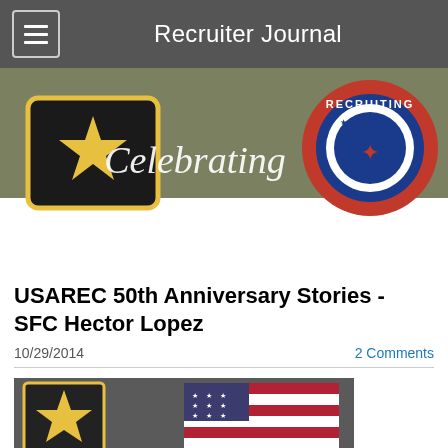Recruiter Journal
[Figure (photo): Army Recruiting banner with Army star logo on left, cursive 'Celebrating' text in center, and US Army Recruiting circular patch logo on right, on olive/khaki background]
USAREC 50th Anniversary Stories - SFC Hector Lopez
10/29/2014
2 Comments
[Figure (photo): Photo showing Army star insignia framed on wall and an American flag]